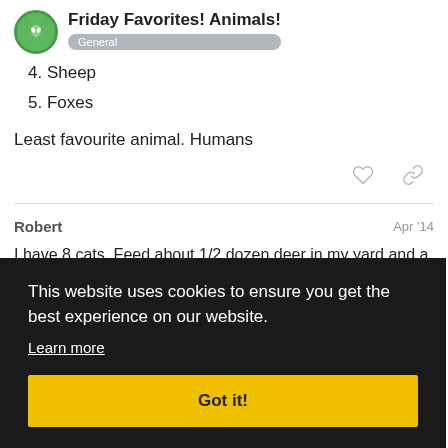Friday Favorites! Animals! General
4. Sheep
5. Foxes
Least favourite animal. Humans
Robert  Apr '14
I have 8 cats. Feed about 1/2 dozen deer in my yard and a gr... love all a...
SK1
2/12
This website uses cookies to ensure you get the best experience on our website. Learn more Got it!